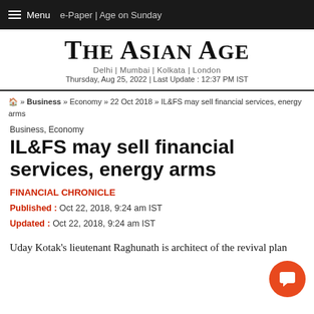☰ Menu  e-Paper | Age on Sunday
The Asian Age
Delhi | Mumbai | Kolkata | London
Thursday, Aug 25, 2022 | Last Update : 12:37 PM IST
🏠 » Business » Economy » 22 Oct 2018 » IL&FS may sell financial services, energy arms
Business, Economy
IL&FS may sell financial services, energy arms
FINANCIAL CHRONICLE
Published : Oct 22, 2018, 9:24 am IST
Updated : Oct 22, 2018, 9:24 am IST
Uday Kotak's lieutenant Raghunath is architect of the revival plan